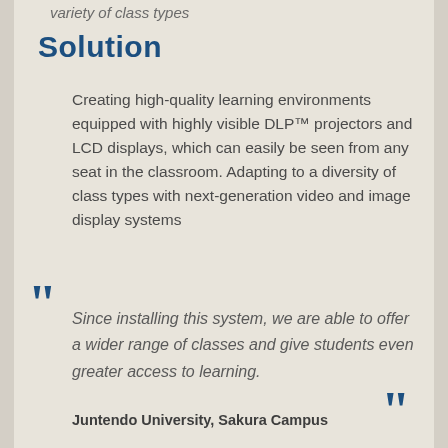variety of class types
Solution
Creating high-quality learning environments equipped with highly visible DLP™ projectors and LCD displays, which can easily be seen from any seat in the classroom. Adapting to a diversity of class types with next-generation video and image display systems
Since installing this system, we are able to offer a wider range of classes and give students even greater access to learning.
Juntendo University, Sakura Campus